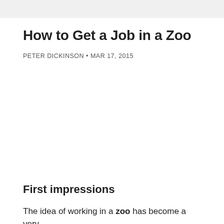How to Get a Job in a Zoo
PETER DICKINSON • MAR 17, 2015
First impressions
The idea of working in a zoo has become a very